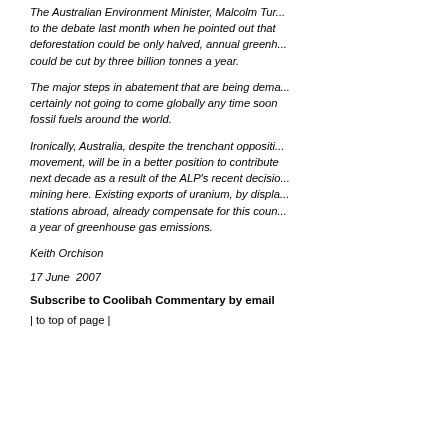The Australian Environment Minister, Malcolm Tur... to the debate last month when he pointed out that deforestation could be only halved, annual greenh... could be cut by three billion tonnes a year.
The major steps in abatement that are being dema... certainly not going to come globally any time soon fossil fuels around the world.
Ironically, Australia, despite the trenchant oppositi... movement, will be in a better position to contribute next decade as a result of the ALP's recent decisio... mining here. Existing exports of uranium, by displa... stations abroad, already compensate for this coun... a year of greenhouse gas emissions.
Keith Orchison
17 June  2007
Subscribe to Coolibah Commentary by email
| to top of page |